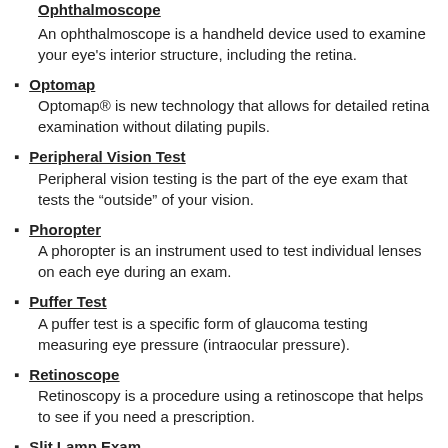Ophthalmoscope
An ophthalmoscope is a handheld device used to examine your eye's interior structure, including the retina.
Optomap
Optomap® is new technology that allows for detailed retina examination without dilating pupils.
Peripheral Vision Test
Peripheral vision testing is the part of the eye exam that tests the "outside" of your vision.
Phoropter
A phoropter is an instrument used to test individual lenses on each eye during an exam.
Puffer Test
A puffer test is a specific form of glaucoma testing measuring eye pressure (intraocular pressure).
Retinoscope
Retinoscopy is a procedure using a retinoscope that helps to see if you need a prescription.
Slit Lamp Exam
A slit lamp exam is a magnified analysis of your eye from front